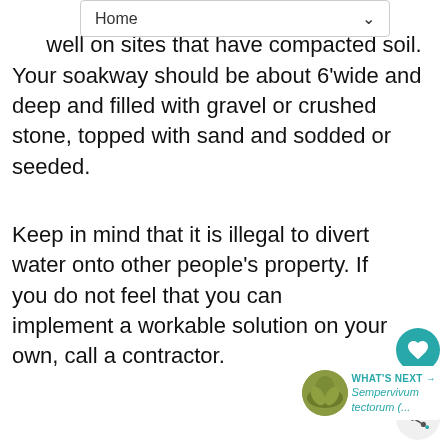Home
A s...s div...s well on sites that have compacted soil. Your soakway should be about 6'wide and deep and filled with gravel or crushed stone, topped with sand and sodded or seeded.
Keep in mind that it is illegal to divert water onto other people's property. If you do not feel that you can implement a workable solution on your own, call a contractor.
Tools : Watering Aides
No gardener depends 100% on natu... Even the most water conscious garden appreciates the proper hose, watering can or
[Figure (other): Sempervivum tectorum thumbnail image for What's Next section]
WHAT'S NEXT → Sempervivum tectorum (...